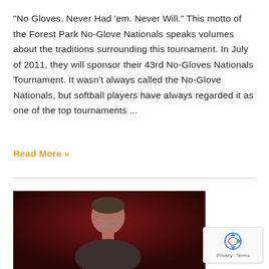"No Gloves. Never Had 'em. Never Will." This motto of the Forest Park No-Glove Nationals speaks volumes about the traditions surrounding this tournament. In July of 2011, they will sponsor their 43rd No-Gloves Nationals Tournament. It wasn't always called the No-Glove Nationals, but softball players have always regarded it as one of the top tournaments ...
Read More »
[Figure (photo): Photo of a man with glasses against a dark red/maroon background, partially visible, showing head and upper body]